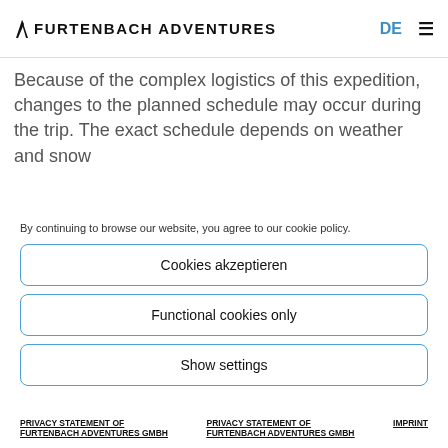FURTENBACH ADVENTURES  DE ≡
Because of the complex logistics of this expedition, changes to the planned schedule may occur during the trip. The exact schedule depends on weather and snow
By continuing to browse our website, you agree to our cookie policy.
Cookies akzeptieren
Functional cookies only
Show settings
PRIVACY STATEMENT OF FURTENBACH ADVENTURES GMBH
PRIVACY STATEMENT OF FURTENBACH ADVENTURES GMBH
IMPRINT